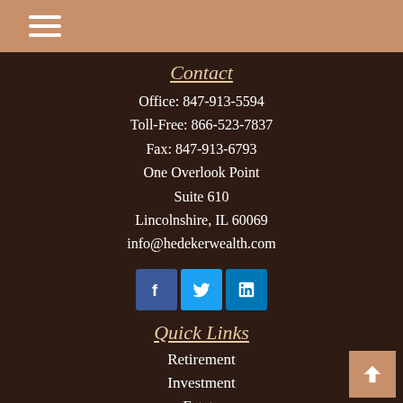[Figure (other): Hamburger menu icon (three horizontal white lines) in the top-left corner on a tan/salmon header bar]
Contact
Office: 847-913-5594
Toll-Free: 866-523-7837
Fax: 847-913-6793
One Overlook Point
Suite 610
Lincolnshire, IL 60069
info@hedekerwealth.com
[Figure (other): Social media icons: Facebook (blue square), Twitter (cyan square), LinkedIn (blue square)]
Quick Links
Retirement
Investment
Estate
Insurance